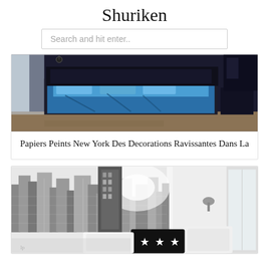Shuriken
Search and hit enter..
[Figure (photo): Blue bedroom with dark furniture and blue bedding]
Papiers Peints New York Des Decorations Ravissantes Dans La
[Figure (photo): Black and white New York city skyline wallpaper in a bedroom with white pillows and star-patterned cushions]